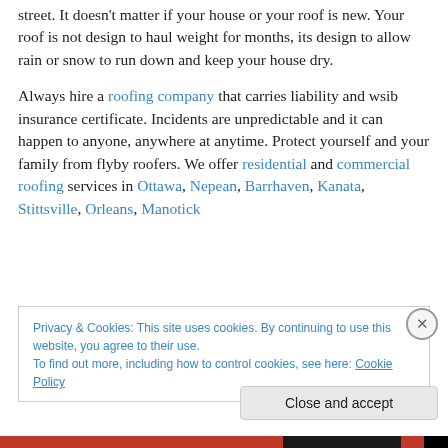street. It doesn't matter if your house or your roof is new. Your roof is not design to haul weight for months, its design to allow rain or snow to run down and keep your house dry.
Always hire a roofing company that carries liability and wsib insurance certificate. Incidents are unpredictable and it can happen to anyone, anywhere at anytime. Protect yourself and your family from flyby roofers. We offer residential and commercial roofing services in Ottawa, Nepean, Barrhaven, Kanata, Stittsville, Orleans, Manotick
Privacy & Cookies: This site uses cookies. By continuing to use this website, you agree to their use. To find out more, including how to control cookies, see here: Cookie Policy
Close and accept